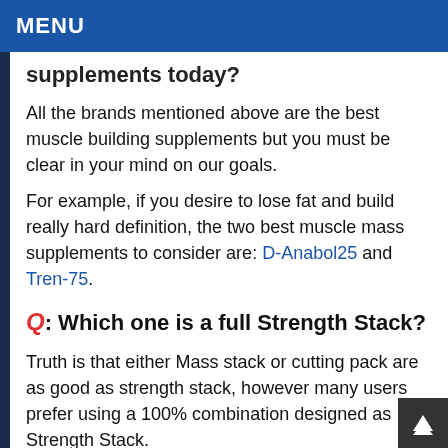MENU
supplements today?
All the brands mentioned above are the best muscle building supplements but you must be clear in your mind on our goals.
For example, if you desire to lose fat and build really hard definition, the two best muscle mass supplements to consider are: D-Anabol25 and Tren-75.
Q: Which one is a full Strength Stack?
Truth is that either Mass stack or cutting pack are as good as strength stack, however many users prefer using a 100% combination designed as Strength Stack.
We suggest you look at this strength combo on the official site. And remember in addition to awesome